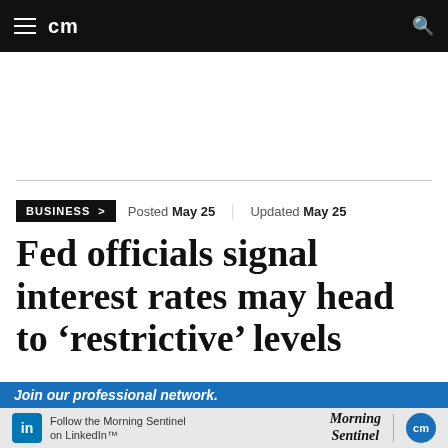cm
BUSINESS > Posted May 25 | Updated May 25
Fed officials signal interest rates may head to ‘restrictive’ levels
According to minutes from their May 3-4 meeting, most agreed that half-point hikes also
[Figure (other): LinkedIn advertisement banner: 'Join our professional network.' with Morning Sentinel | cm logo]